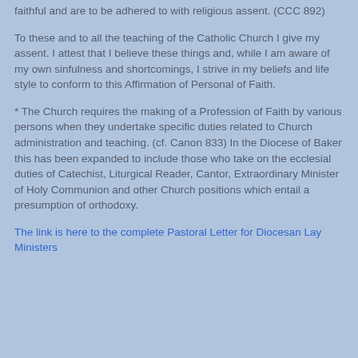faithful and are to be adhered to with religious assent. (CCC 892)
To these and to all the teaching of the Catholic Church I give my assent. I attest that I believe these things and, while I am aware of my own sinfulness and shortcomings, I strive in my beliefs and life style to conform to this Affirmation of Personal of Faith.
* The Church requires the making of a Profession of Faith by various persons when they undertake specific duties related to Church administration and teaching. (cf. Canon 833) In the Diocese of Baker this has been expanded to include those who take on the ecclesial duties of Catechist, Liturgical Reader, Cantor, Extraordinary Minister of Holy Communion and other Church positions which entail a presumption of orthodoxy.
The link is here to the complete Pastoral Letter for Diocesan Lay Ministers